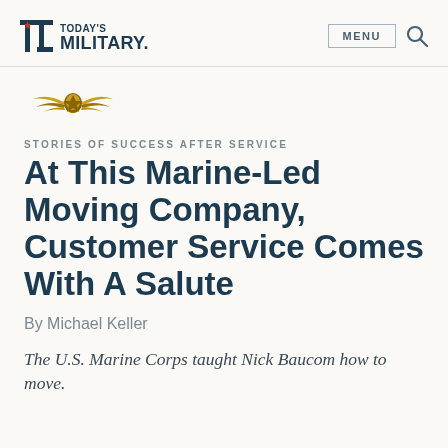TODAY'S MILITARY
[Figure (logo): Military emblem / wing insignia gold colored]
STORIES OF SUCCESS AFTER SERVICE
At This Marine-Led Moving Company, Customer Service Comes With A Salute
By Michael Keller
The U.S. Marine Corps taught Nick Baucom how to move.